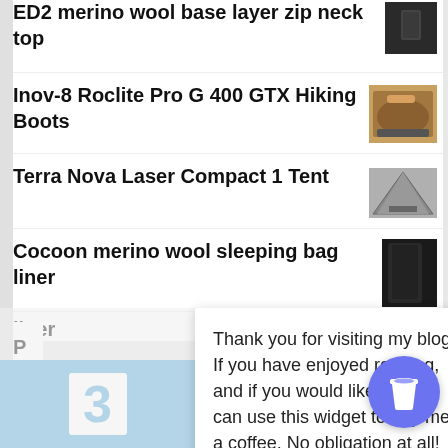ED2 merino wool base layer zip neck top
Inov-8 Roclite Pro G 400 GTX Hiking Boots
Terra Nova Laser Compact 1 Tent
Cocoon merino wool sleeping bag liner
Thank you for visiting my blog. If you have enjoyed reading, and if you would like to, you can use this widget to buy me a coffee. No obligation at all!
[Figure (illustration): Blue circle button with white coffee cup icon (buy me a coffee widget)]
[Figure (photo): Partial blue card with number 3, and landscape mountain photo at bottom]